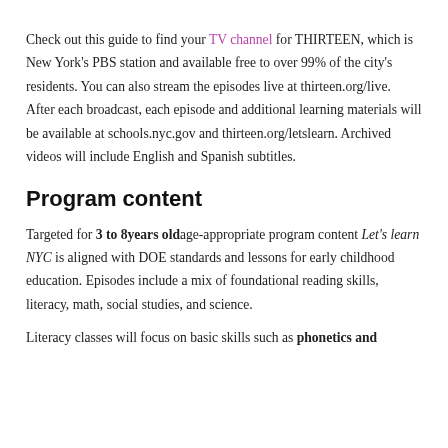Check out this guide to find your TV channel for THIRTEEN, which is New York's PBS station and available free to over 99% of the city's residents. You can also stream the episodes live at thirteen.org/live. After each broadcast, each episode and additional learning materials will be available at schools.nyc.gov and thirteen.org/letslearn. Archived videos will include English and Spanish subtitles.
Program content
Targeted for 3 to 8years old age-appropriate program content Let's learn NYC is aligned with DOE standards and lessons for early childhood education. Episodes include a mix of foundational reading skills, literacy, math, social studies, and science.
Literacy classes will focus on basic skills such as phonetics and